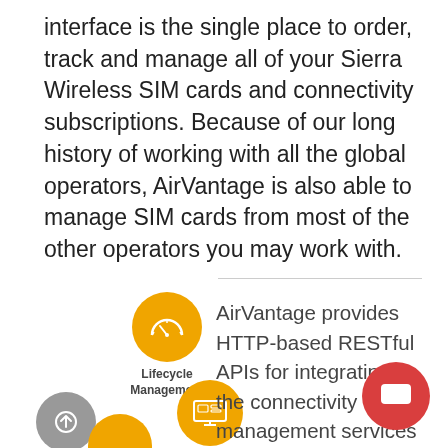interface is the single place to order, track and manage all of your Sierra Wireless SIM cards and connectivity subscriptions. Because of our long history of working with all the global operators, AirVantage is also able to manage SIM cards from most of the other operators you may work with.
[Figure (infographic): Two yellow circular icons: Lifecycle Management (speedometer icon) and Monitor Consumption (monitor/screen icon), plus a gray circular icon (upload arrow), arranged vertically on the left side. A partially visible yellow circle appears at the bottom.]
AirVantage provides HTTP-based RESTful APIs for integrating the connectivity management services into your IT syste… and streamline yo… operations.